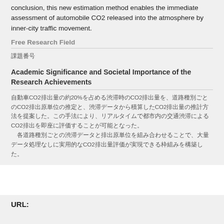conclusion, this new estimation method enables the immediate assessment of automobile CO2 released into the atmosphere by inner-city traffic movement.
Free Research Field
課題番号
Academic Significance and Societal Importance of the Research Achievements
自動車CO2排出量の約20%を占める渋滞時のCO2排出量を、道路種別ごとのCO2排出原単位の推定と、渋滞データから積算したCO2排出量の推計方法を提案した。この手法により、リアルタイムで都市内の交通渋滞によるCO2排出を即座に評価することが可能となった。
URL: